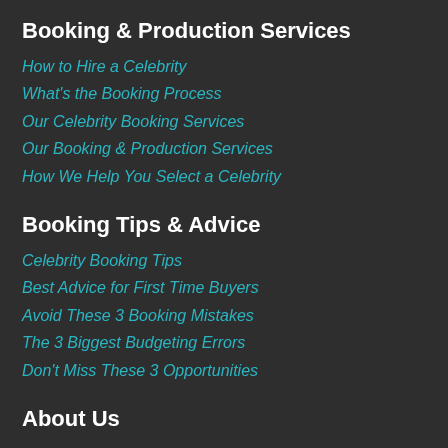Booking & Production Services
How to Hire a Celebrity
What's the Booking Process
Our Celebrity Booking Services
Our Booking & Production Services
How We Help You Select a Celebrity
Booking Tips & Advice
Celebrity Booking Tips
Best Advice for First Time Buyers
Avoid These 3 Booking Mistakes
The 3 Biggest Budgeting Errors
Don't Miss These 3 Opportunities
About Us
About Celebrity Direct Inc.
Blog
Celebrities & Brands